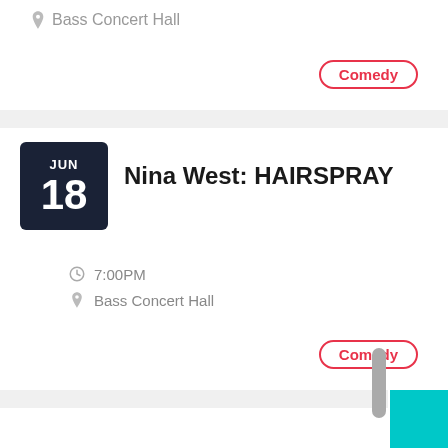Bass Concert Hall
Comedy
JUN 18 Nina West: HAIRSPRAY
7:00PM
Bass Concert Hall
Comedy
Be a Seat Filler